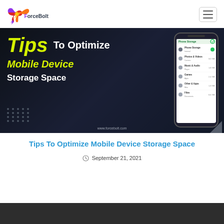ForceBolt logo and navigation
[Figure (screenshot): Blog post hero image with dark background showing 'Tips To Optimize Mobile Device Storage Space' text in yellow italic and white, with a phone mockup showing storage settings on the right side, and www.forcebolt.com watermark]
Tips To Optimize Mobile Device Storage Space
September 21, 2021
[Figure (photo): Dark gray/charcoal colored band at the bottom of the page, partially visible]